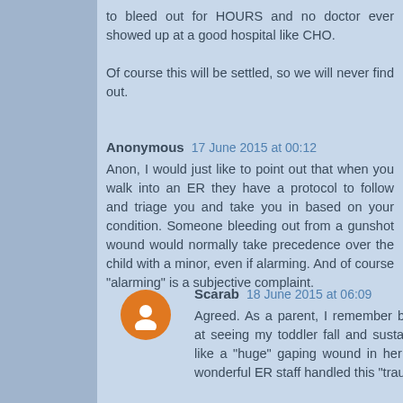to bleed out for HOURS and no doctor ever showed up at a good hospital like CHO.
Of course this will be settled, so we will never find out.
Anonymous 17 June 2015 at 00:12
Anon, I would just like to point out that when you walk into an ER they have a protocol to follow and triage you and take you in based on your condition. Someone bleeding out from a gunshot wound would normally take precedence over the child with a minor, even if alarming. And of course "alarming" is a subjective complaint.
Scarab 18 June 2015 at 06:09
Agreed. As a parent, I remember being "alarmed" at seeing my toddler fall and sustain what looked like a "huge" gaping wound in her forehead. The wonderful ER staff handled this "traumatic injury"